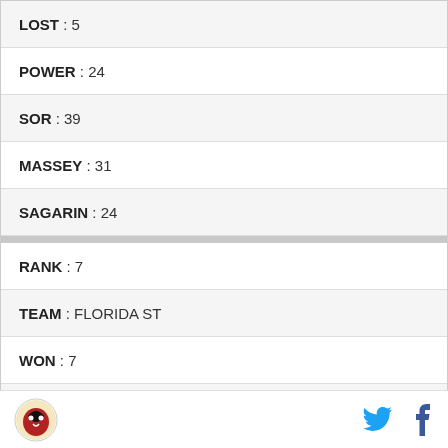LOST : 5
POWER : 24
SOR : 39
MASSEY : 31
SAGARIN : 24
RANK : 7
TEAM : FLORIDA ST
WON : 7
LOST : 6
POWER : 16
SOR : 46